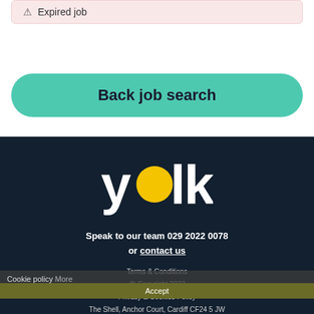⚠ Expired job
Back job search
[Figure (logo): Yolk recruitment logo — white lowercase 'y', yellow circle replacing the 'o', white 'lk', on dark navy background]
Speak to our team 029 2022 0078 or contact us
Terms & Conditions
@ Copyright 2022
Privacy & Cookies Policy
The Shell, Anchor Court, Cardiff CF24 5 JW
Cookie policy More
Accept